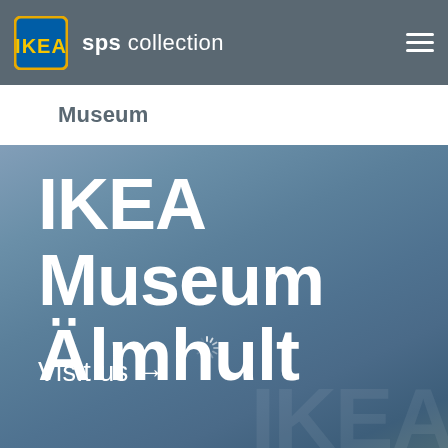sps collection
Museum
[Figure (photo): IKEA Museum Älmhult promotional banner with large white text on a steel-blue gradient background, with a 'Visit us →' call to action and a loading spinner icon in the middle of the image.]